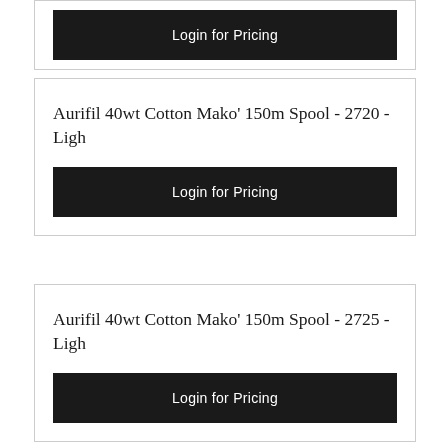Login for Pricing
Aurifil 40wt Cotton Mako' 150m Spool - 2720 - Ligh
Login for Pricing
Aurifil 40wt Cotton Mako' 150m Spool - 2725 - Ligh
Login for Pricing
Aurifil 40wt Cotton Mako' 150m Spool - 2730 - Delf